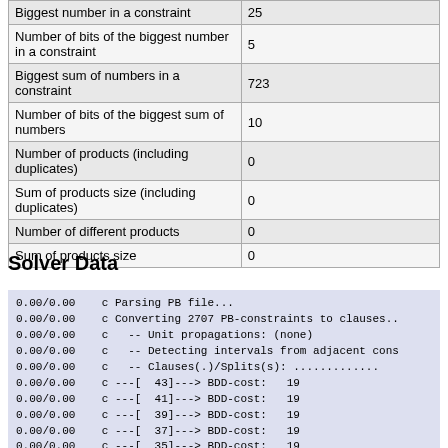| Property | Value |
| --- | --- |
| Biggest number in a constraint | 25 |
| Number of bits of the biggest number in a constraint | 5 |
| Biggest sum of numbers in a constraint | 723 |
| Number of bits of the biggest sum of numbers | 10 |
| Number of products (including duplicates) | 0 |
| Sum of products size (including duplicates) | 0 |
| Number of different products | 0 |
| Sum of products size | 0 |
Solver Data
0.00/0.00    c Parsing PB file...
0.00/0.00    c Converting 2707 PB-constraints to clauses..
0.00/0.00    c   -- Unit propagations: (none)
0.00/0.00    c   -- Detecting intervals from adjacent cons
0.00/0.00    c   -- Clauses(.)/Splits(s): .............
0.00/0.00    c ---[  43]---> BDD-cost:   19
0.00/0.00    c ---[  41]---> BDD-cost:   19
0.00/0.00    c ---[  39]---> BDD-cost:   19
0.00/0.00    c ---[  37]---> BDD-cost:   19
0.00/0.00    c ---[  35]---> BDD-cost:   19
0.00/0.00    c ---[  33]---> BDD-cost:   19